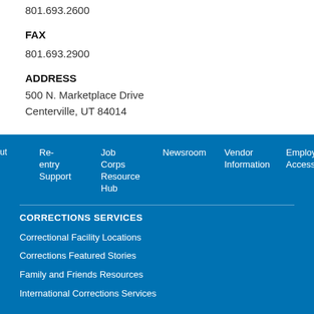801.693.2600
FAX
801.693.2900
ADDRESS
500 N. Marketplace Drive
Centerville, UT 84014
Re-entry Support | Job Corps Resource Hub | Newsroom | Vendor Information | Employee Access | Careers
CORRECTIONS SERVICES
Correctional Facility Locations
Corrections Featured Stories
Family and Friends Resources
International Corrections Services